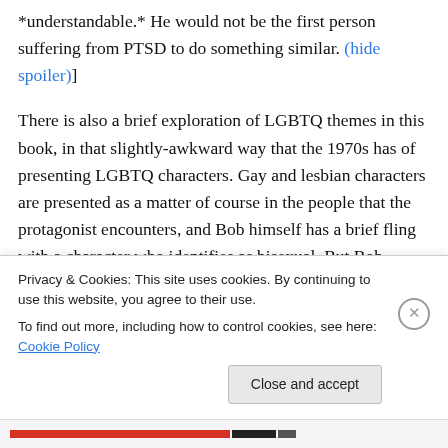*understandable.* He would not be the first person suffering from PTSD to do something similar. (hide spoiler)]
There is also a brief exploration of LGBTQ themes in this book, in that slightly-awkward way that the 1970s has of presenting LGBTQ characters. Gay and lesbian characters are presented as a matter of course in the people that the protagonist encounters, and Bob himself has a brief fling with a character who identifies as bisexual. But Bob struggles with that and feels a certain degree of shame and embarrassment about it in therapy.
Privacy & Cookies: This site uses cookies. By continuing to use this website, you agree to their use.
To find out more, including how to control cookies, see here: Cookie Policy